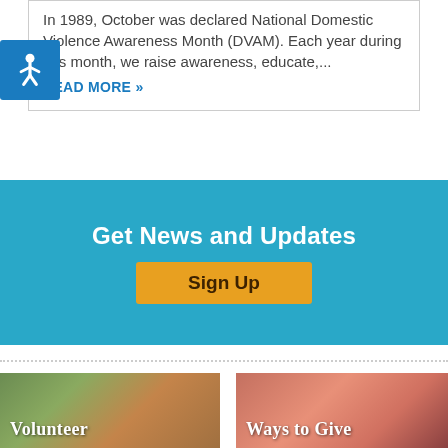In 1989, October was declared National Domestic Violence Awareness Month (DVAM). Each year during this month, we raise awareness, educate,...
READ MORE »
[Figure (infographic): Blue accessibility icon with wheelchair symbol]
Get News and Updates
Sign Up
[Figure (photo): Group of people volunteering in a garden]
Volunteer
[Figure (photo): Two smiling people, a child and adult]
Ways to Give